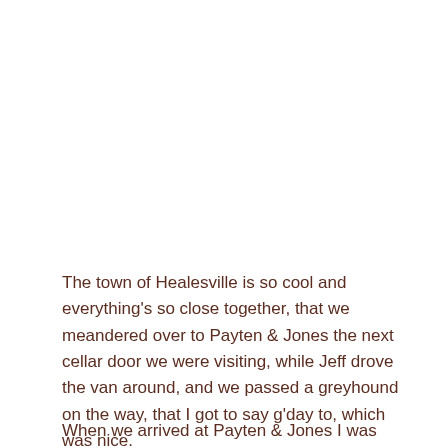The town of Healesville is so cool and everything's so close together, that we meandered over to Payten & Jones the next cellar door we were visiting, while Jeff drove the van around, and we passed a greyhound on the way, that I got to say g'day to, which was nice.
When we arrived at Payten & Jones I was patted by